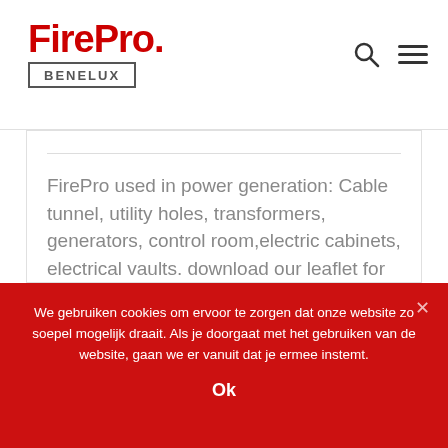FirePro. BENELUX
FirePro used in power generation: Cable tunnel, utility holes, transformers, generators, control room,electric cabinets, electrical vaults. download our leaflet for more information …
Read more ›
We gebruiken cookies om ervoor te zorgen dat onze website zo soepel mogelijk draait. Als je doorgaat met het gebruiken van de website, gaan we er vanuit dat je ermee instemt.
Ok